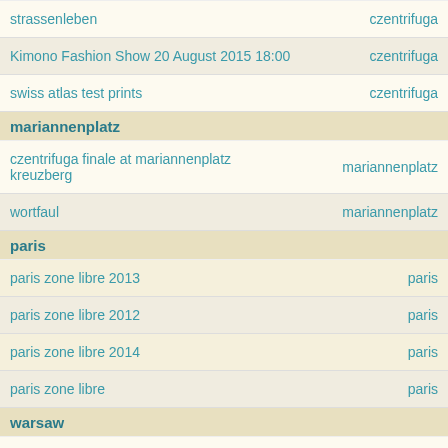| title | tag |
| --- | --- |
| strassenleben | czentrifuga |
| Kimono Fashion Show 20 August 2015 18:00 | czentrifuga |
| swiss atlas test prints | czentrifuga |
| [section] mariannenplatz |  |
| czentrifuga finale at mariannenplatz kreuzberg | mariannenplatz |
| wortfaul | mariannenplatz |
| [section] paris |  |
| paris zone libre 2013 | paris |
| paris zone libre 2012 | paris |
| paris zone libre 2014 | paris |
| paris zone libre | paris |
| [section] warsaw |  |
| warschau 2013 | warsaw |
| [section] GabbaReifenstihl |  |